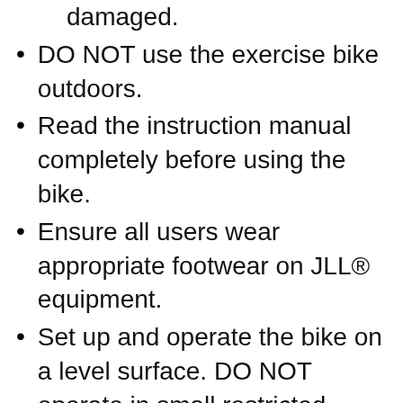damaged.
DO NOT use the exercise bike outdoors.
Read the instruction manual completely before using the bike.
Ensure all users wear appropriate footwear on JLL® equipment.
Set up and operate the bike on a level surface. DO NOT operate in small restricted areas or on plush carpet.
As far as possible provide the